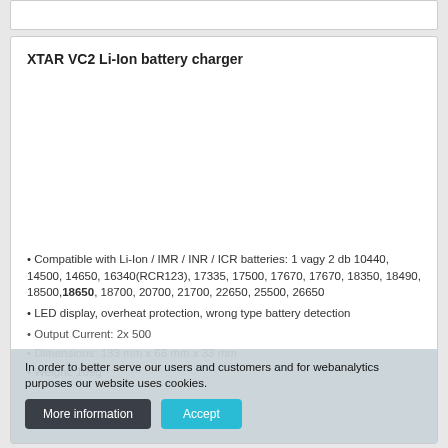XTAR VC2 Li-Ion battery charger
[Figure (photo): Product image placeholder area for XTAR VC2 Li-Ion battery charger]
Compatible with Li-Ion / IMR / INR / ICR batteries: 1 vagy 2 db 10440, 14500, 14650, 16340(RCR123), 17335, 17500, 17670, 17670, 18350, 18490, 18500, 18650, 18700, 20700, 21700, 22650, 25500, 26650
LED display, overheat protection, wrong type battery detection
Output Current: 2x 500
Dimensions: 133 mm x 66 mm x 33 mm
Weight: 109g
In order to better serve our users and customers and for webanalytics purposes our website uses cookies.